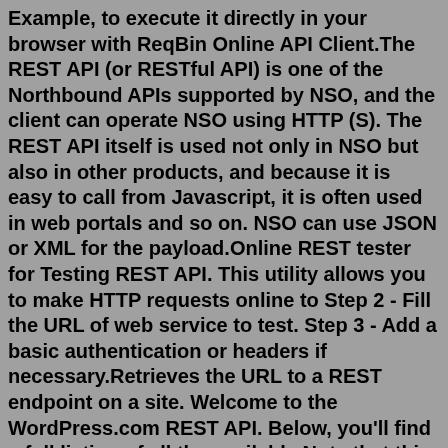Example, to execute it directly in your browser with ReqBin Online API Client.The REST API (or RESTful API) is one of the Northbound APIs supported by NSO, and the client can operate NSO using HTTP (S). The REST API itself is used not only in NSO but also in other products, and because it is easy to call from Javascript, it is often used in web portals and so on. NSO can use JSON or XML for the payload.Online REST tester for Testing REST API. This utility allows you to make HTTP requests online to Step 2 - Fill the URL of web service to test. Step 3 - Add a basic authentication or headers if necessary.Retrieves the URL to a REST endpoint on a site. Welcome to the WordPress.com REST API. Below, you'll find a full listing of all the available Note that this API is also enabled on WordPress.com, but the URL structure on WordPress.com is slightly...Getting started with the Checks API. The Check Runs API enables you to build GitHub Apps that run powerful checks against code changes in a repository. You can create apps that perform